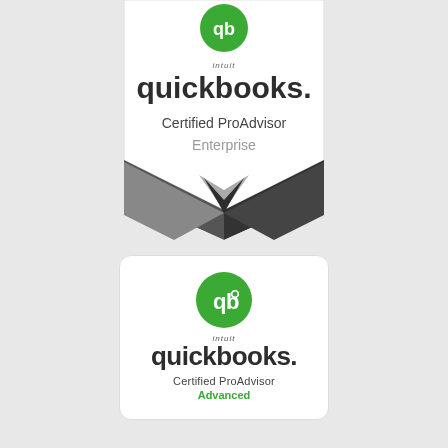[Figure (logo): QuickBooks Certified ProAdvisor Enterprise badge — top portion visible. Contains the QuickBooks logo (green circle with 'qb', intuit wordmark, and quickbooks. text), with text 'Certified ProAdvisor' and 'Enterprise', topped by a folded ribbon/chevron graphic in grey tones.]
[Figure (logo): QuickBooks Certified ProAdvisor Advanced badge — rounded rectangle white card. Contains the QuickBooks logo (green circle with 'qb', intuit wordmark, and quickbooks. text), with text 'Certified ProAdvisor' and 'Advanced' in green.]